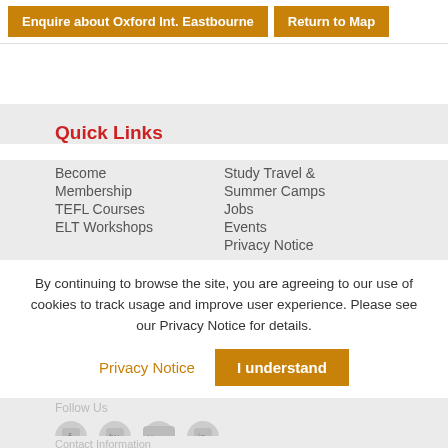Enquire about Oxford Int. Eastbourne | Return to Map
Quick Links
Become Membership
TEFL Courses
ELT Workshops
Study Travel & Summer Camps
Jobs
Events
Privacy Notice
By continuing to browse the site, you are agreeing to our use of cookies to track usage and improve user experience. Please see our Privacy Notice for details.
Privacy Notice | I understand
Follow Us
Contact Information